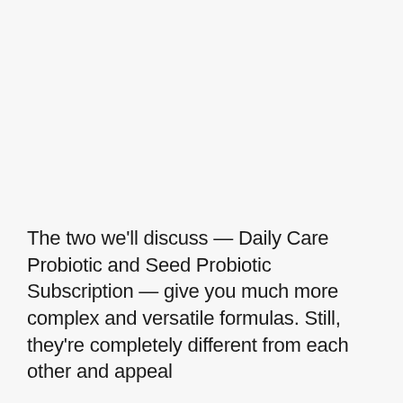The two we'll discuss — Daily Care Probiotic and Seed Probiotic Subscription — give you much more complex and versatile formulas. Still, they're completely different from each other and appeal